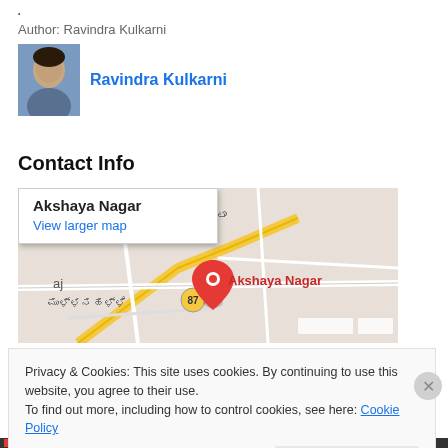•
Author: Ravindra Kulkarni
Ravindra Kulkarni
Contact Info
[Figure (map): Google Map showing Akshaya Nagar location with a red pin marker and popup showing 'Akshaya Nagar' and 'View larger map' link. Map shows streets in Bengaluru area with Kannada script labels.]
Privacy & Cookies: This site uses cookies. By continuing to use this website, you agree to their use.
To find out more, including how to control cookies, see here: Cookie Policy
Close and accept